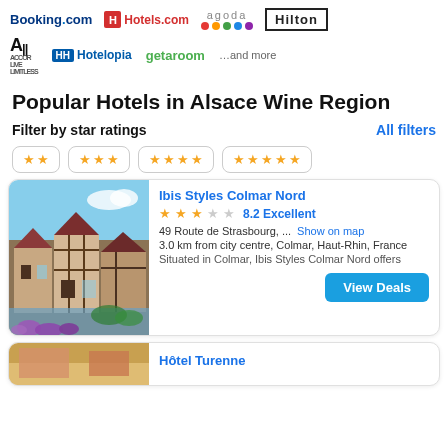[Figure (logo): Partner booking site logos: Booking.com, Hotels.com, agoda, Hilton, ALL Accor Live Limitless, Hotelopia, getaroom, ...and more]
Popular Hotels in Alsace Wine Region
Filter by star ratings    All filters
[Figure (infographic): Star rating filter buttons: 2 stars, 3 stars, 4 stars, 5 stars]
[Figure (photo): Photo of Colmar, Alsace with half-timbered houses along a canal with purple flowers]
Ibis Styles Colmar Nord
★★★ 8.2 Excellent
49 Route de Strasbourg, ...   Show on map
3.0 km from city centre, Colmar, Haut-Rhin, France
Situated in Colmar, Ibis Styles Colmar Nord offers
View Deals
Hôtel Turenne